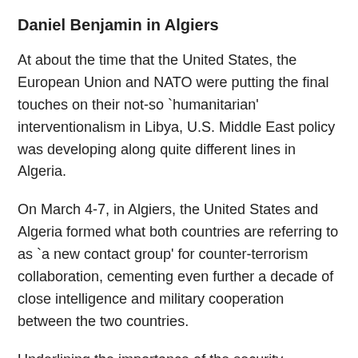Daniel Benjamin in Algiers
At about the time that the United States, the European Union and NATO were putting the final touches on their not-so `humanitarian' interventionalism in Libya, U.S. Middle East policy was developing along quite different lines in Algeria.
On March 4-7, in Algiers, the United States and Algeria formed what both countries are referring to as `a new contact group' for counter-terrorism collaboration, cementing even further a decade of close intelligence and military cooperation between the two countries.
Underlining the importance of the security arrangement, the United States sent Daniel Benjamin, the U.S. State Department's Coordinator for Counter Terrorism, to attend. The Algerian side was represented by Algerian